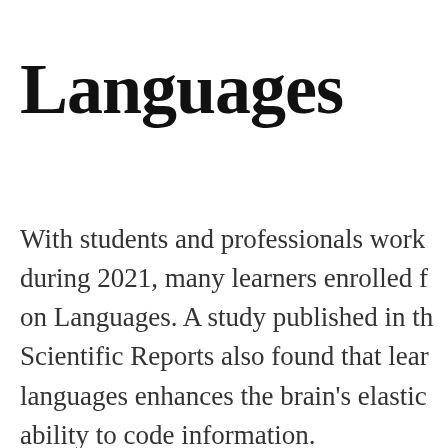Languages
With students and professionals working during 2021, many learners enrolled f on Languages. A study published in th Scientific Reports also found that lear languages enhances the brain's elastic ability to code information.